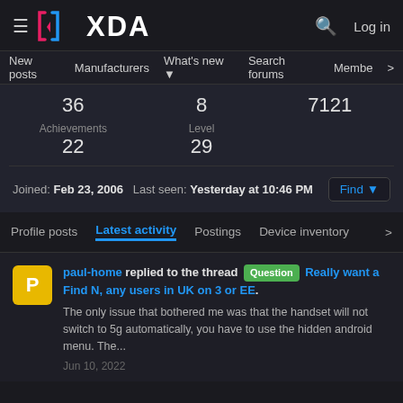XDA - Log in
New posts  Manufacturers  What's new  Search forums  Membe >
36  8  7121  Achievements  Level  22  29
Joined: Feb 23, 2006  Last seen: Yesterday at 10:46 PM  Find
Profile posts  Latest activity  Postings  Device inventory >
paul-home replied to the thread Question Really want a Find N, any users in UK on 3 or EE. The only issue that bothered me was that the handset will not switch to 5g automatically, you have to use the hidden android menu. The... Jun 10, 2022